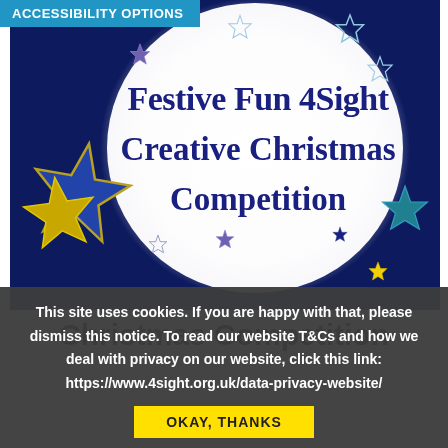ACCESSIBILITY OPTIONS
[Figure (illustration): Festive Fun 4Sight Creative Christmas Competition promotional image: dark navy blue background with a large white circular moon in the center, surrounded by various colorful stars (blue, purple, yellow, white). Text on the moon reads 'Festive Fun 4Sight Creative Christmas Competition' in dark navy serif font.]
Christmas Competition
This site uses cookies. If you are happy with that, please dismiss this notice. To read our website T&Cs and how we deal with privacy on our website, click this link: https://www.4sight.org.uk/data-privacy-website/
OKAY, THANKS